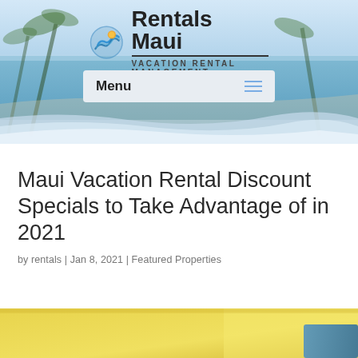[Figure (photo): Rentals Maui website header with ocean/beach background, palm trees, and navigation menu bar]
Rentals Maui – VACATION RENTAL MANAGEMENT
Maui Vacation Rental Discount Specials to Take Advantage of in 2021
by rentals | Jan 8, 2021 | Featured Properties
[Figure (photo): Bottom partial image showing yellow/bright vacation rental interior]